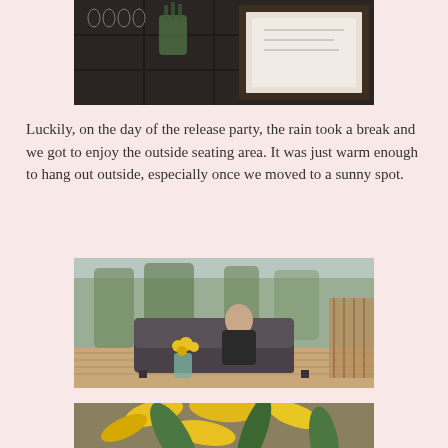[Figure (photo): A dark table with wine glasses and a green vase with flowers, and a framed picture in the background, set outdoors.]
Luckily, on the day of the release party, the rain took a break and we got to enjoy the outside seating area. It was just warm enough to hang out outside, especially once we moved to a sunny spot.
[Figure (photo): A woman in a black jacket sitting on an outdoor dark cushioned sofa, holding a wine glass, with yellow flowers in a vase in the foreground and trees in the background.]
[Figure (photo): Close-up of yellow lily flowers with green leaves.]